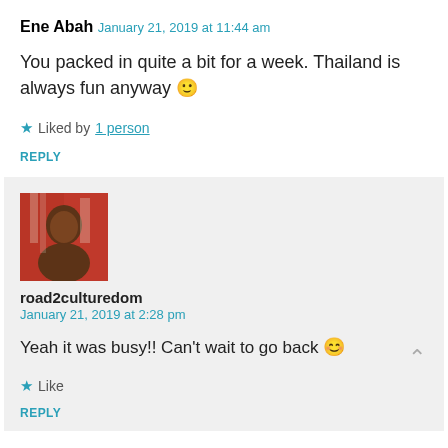Ene Abah
January 21, 2019 at 11:44 am
You packed in quite a bit for a week. Thailand is always fun anyway 🙂
★ Liked by 1 person
REPLY
[Figure (photo): Avatar photo of road2culturedom blogger]
road2culturedom
January 21, 2019 at 2:28 pm
Yeah it was busy!! Can't wait to go back 😊
★ Like
REPLY